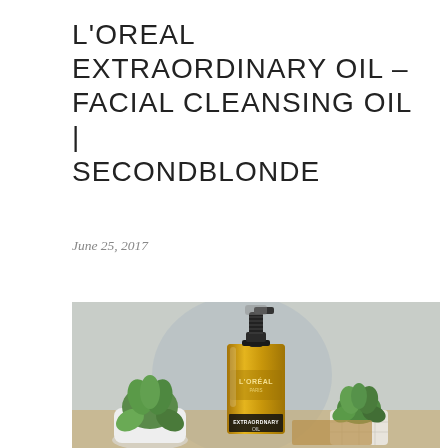L'OREAL EXTRAORDINARY OIL – FACIAL CLEANSING OIL | SECONDBLONDE
June 25, 2017
[Figure (photo): Product photo of L'Oreal Extraordinary Oil facial cleansing oil bottle with black spray pump, flanked by two succulent plants in white pots, placed on a wooden surface against a light grey background.]